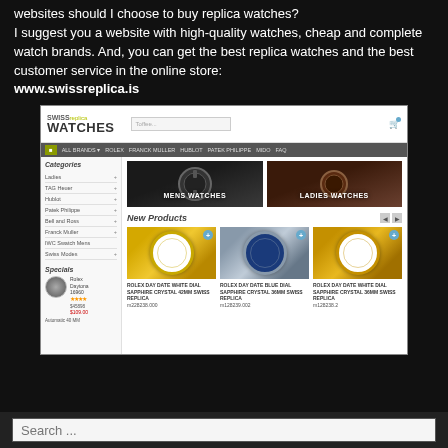websites should I choose to buy replica watches? I suggest you a website with high-quality watches, cheap and complete watch brands. And, you can get the best replica watches and the best customer service in the online store: www.swissreplica.is
[Figure (screenshot): Screenshot of www.swissreplica.is website showing Swiss Replica Watches online store with navigation, categories sidebar, banner images for men's and ladies' watches, and new products section featuring Rolex Day-Date watches]
Search ...